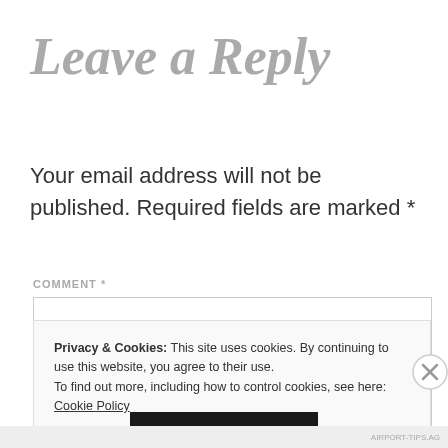Leave a Reply
Your email address will not be published. Required fields are marked *
COMMENT *
[Figure (screenshot): Empty comment textarea input box with light gray border]
Privacy & Cookies: This site uses cookies. By continuing to use this website, you agree to their use. To find out more, including how to control cookies, see here: Cookie Policy
Close and accept
AIRPORT-TIPS.AG